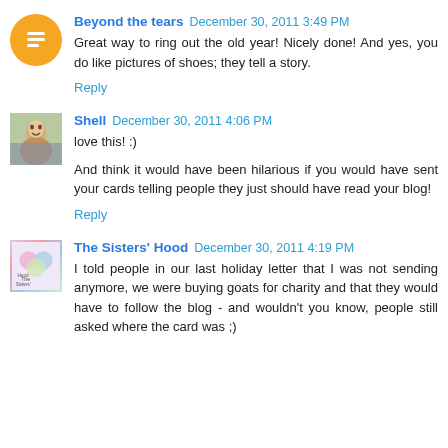Beyond the tears  December 30, 2011 3:49 PM
Great way to ring out the old year! Nicely done! And yes, you do like pictures of shoes; they tell a story.
Reply
Shell  December 30, 2011 4:06 PM
love this! :)
And think it would have been hilarious if you would have sent your cards telling people they just should have read your blog!
Reply
The Sisters' Hood  December 30, 2011 4:19 PM
I told people in our last holiday letter that I was not sending anymore, we were buying goats for charity and that they would have to follow the blog - and wouldn't you know, people still asked where the card was ;)